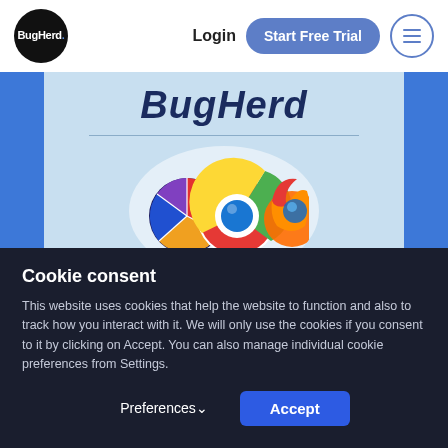BugHerd. Login  Start Free Trial [menu]
BugHerd
[Figure (screenshot): Browser extension icons: a pie-chart style icon, Chrome logo, and Firefox logo displayed inside a circular white background on a light blue card]
Cookie consent
This website uses cookies that help the website to function and also to track how you interact with it. We will only use the cookies if you consent to it by clicking on Accept. You can also manage individual cookie preferences from Settings.
Preferences∨  Accept